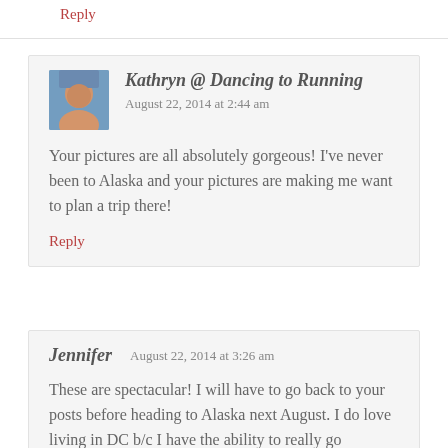Reply
Kathryn @ Dancing to Running    August 22, 2014 at 2:44 am
Your pictures are all absolutely gorgeous! I've never been to Alaska and your pictures are making me want to plan a trip there!
Reply
Jennifer    August 22, 2014 at 3:26 am
These are spectacular! I will have to go back to your posts before heading to Alaska next August. I do love living in DC b/c I have the ability to really go anywhere!